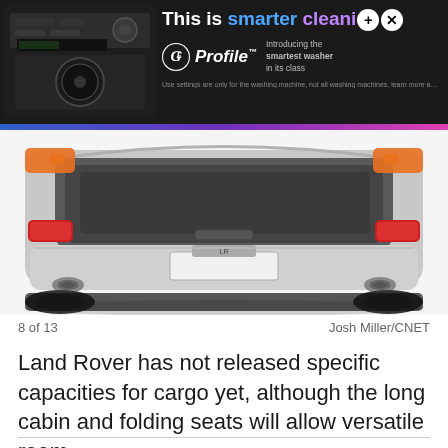[Figure (photo): Advertisement banner for GE Profile washer at top, with text 'This is smarter cleani...' and GE Profile logo, against dark background with colorful gradient bar]
[Figure (photo): Rear view of a Land Rover SUV with open trunk/boot, silver bumper, red tail lights, dual exhaust pipes visible, orange body color, photographed from behind on white background]
8 of 13                                                              Josh Miller/CNET
Land Rover has not released specific capacities for cargo yet, although the long cabin and folding seats will allow versatile room.